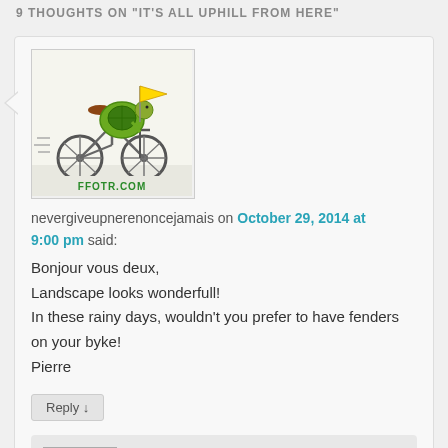9 THOUGHTS ON "IT'S ALL UPHILL FROM HERE"
[Figure (illustration): Cartoon turtle riding a bicycle with a flag, from FFOTR.COM]
nevergiveupnerenoncejamais on October 29, 2014 at 9:00 pm said:
Bonjour vous deux,
Landscape looks wonderfull!
In these rainy days, wouldn't you prefer to have fenders on your byke!
Pierre
Reply ↓
Shirine Taylor on November 2, 2014 at 2:00 am said: